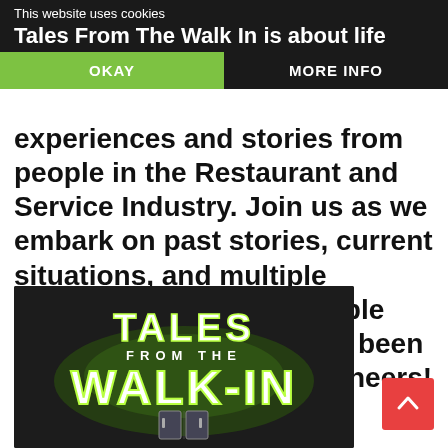This website uses cookies
Tales From The Walk In is about life experiences and stories from people in the Restaurant and Service Industry.
OKAY
MORE INFO
the Restaurant and Service Industry. Join us as we embark on past stories, current situations, and multiple interviews with local people that are currently or have been in the Service Industry. Cheers!
[Figure (illustration): Tales From The Walk-In logo illustration with glowing green text on dark background showing a walk-in refrigerator scene]